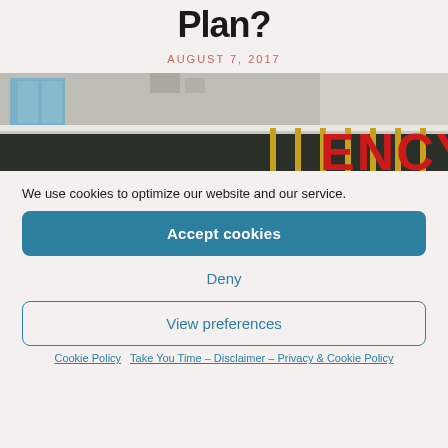Plan?
AUGUST 7, 2017
[Figure (photo): Emergency department exterior sign showing partial text 'ENCY' in large red letters on a building facade with glass and gold/yellow vertical poles]
We use cookies to optimize our website and our service.
Accept cookies
Deny
View preferences
Cookie Policy   Take You Time – Disclaimer – Privacy & Cookie Policy